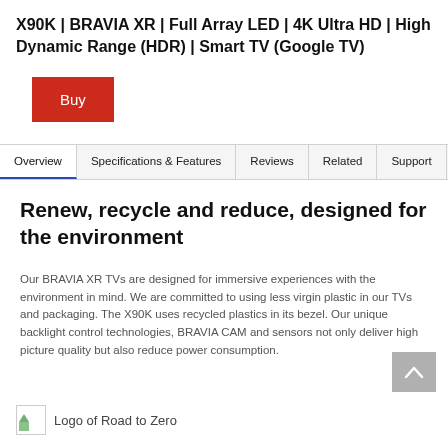X90K | BRAVIA XR | Full Array LED | 4K Ultra HD | High Dynamic Range (HDR) | Smart TV (Google TV)
Buy
Overview | Specifications & Features | Reviews | Related | Support
Renew, recycle and reduce, designed for the environment
Our BRAVIA XR TVs are designed for immersive experiences with the environment in mind. We are committed to using less virgin plastic in our TVs and packaging. The X90K uses recycled plastics in its bezel. Our unique backlight control technologies, BRAVIA CAM and sensors not only deliver high picture quality but also reduce power consumption.
Logo of Road to Zero